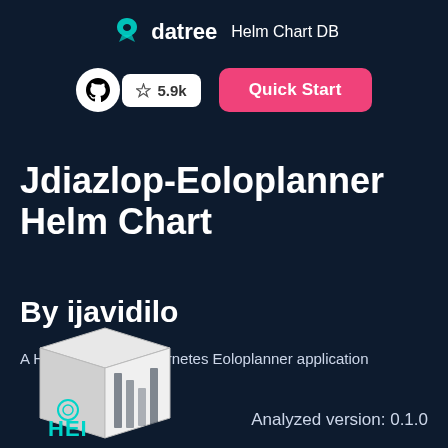datree Helm Chart DB
[Figure (logo): GitHub icon (circular black Octocat on white background) and star count badge showing 5.9k, plus a pink Quick Start button]
Jdiazlop-Eoloplanner Helm Chart
By ijavidilo
A Helm chart for Kubernetes Eoloplanner application
[Figure (illustration): 3D Helm chart box illustration with HEI logo/text at the bottom left]
Analyzed version: 0.1.0